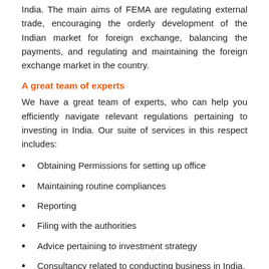India. The main aims of FEMA are regulating external trade, encouraging the orderly development of the Indian market for foreign exchange, balancing the payments, and regulating and maintaining the foreign exchange market in the country.
A great team of experts
We have a great team of experts, who can help you efficiently navigate relevant regulations pertaining to investing in India. Our suite of services in this respect includes:
Obtaining Permissions for setting up office
Maintaining routine compliances
Reporting
Filing with the authorities
Advice pertaining to investment strategy
Consultancy related to conducting business in India, foreign exchange transactions